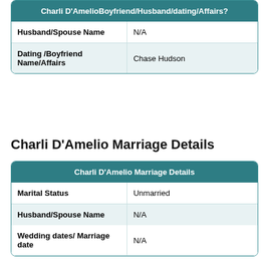|  |  |
| --- | --- |
| Charli D'AmelioBoyfriend/Husband/dating/Affairs? |  |
| Husband/Spouse Name | N/A |
| Dating /Boyfriend Name/Affairs | Chase Hudson |
Charli D'Amelio Marriage Details
| Charli D'Amelio Marriage Details |  |
| --- | --- |
| Marital Status | Unmarried |
| Husband/Spouse Name | N/A |
| Wedding dates/ Marriage date | N/A |